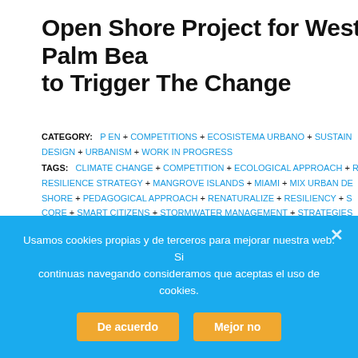Open Shore Project for West Palm Beach to Trigger The Change
CATEGORY: P EN + COMPETITIONS + ECOSISTEMA URBANO + SUSTAINABLE DESIGN + URBANISM + WORK IN PROGRESS
TAGS: CLIMATE CHANGE + COMPETITION + ECOLOGICAL APPROACH + RESILIENCE STRATEGY + MANGROVE ISLANDS + MIAMI + MIX URBAN DESIGN SHORE + PEDAGOGICAL APPROACH + RENATURALIZE + RESILIENCY + SMART CORE + SMART CITIZENS + STORMWATER MANAGEMENT + STRATEGIES CATALYZERS + URBAN REACTIVATION + URBAN RENOVATION + VAN ALEN INSTITUTE + WATERFRONT + WEST PALM BEACH + WETLAND RENATURALIZATION RESILIENCY + YEAR ROUND ACTIVITY
[Figure (photo): Image showing the word STRATEGY in large red letters over a blue sky background with a ferris wheel visible on the left]
Usamos cookies propias y de terceros para mejorar nuestra web. Si continuas navegando consideramos que aceptas el uso de cookies.